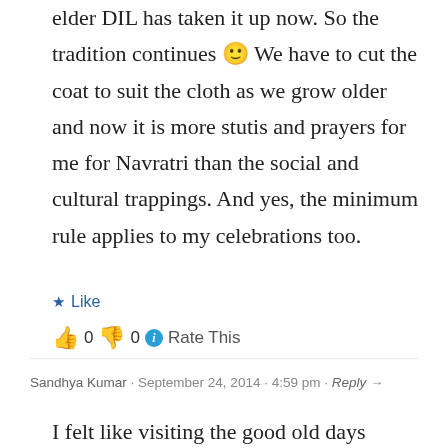elder DIL has taken it up now. So the tradition continues 🙂 We have to cut the coat to suit the cloth as we grow older and now it is more stutis and prayers for me for Navratri than the social and cultural trappings. And yes, the minimum rule applies to my celebrations too.
★ Like
👍 0 👎 0 ℹ Rate This
Sandhya Kumar · September 24, 2014 · 4:59 pm · Reply →
I felt like visiting the good old days Zephyr!